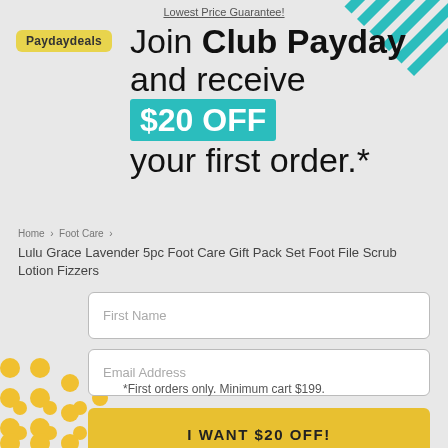Lowest Price Guarantee!
[Figure (logo): Paydaydeals logo in yellow rounded rectangle]
Join Club Payday and receive $20 OFF your first order.*
Home > Foot Care
Lulu Grace Lavender 5pc Foot Care Gift Pack Set Foot File Scrub Lotion Fizzers
First Name
Email Address
I WANT $20 OFF!
*First orders only. Minimum cart $199.